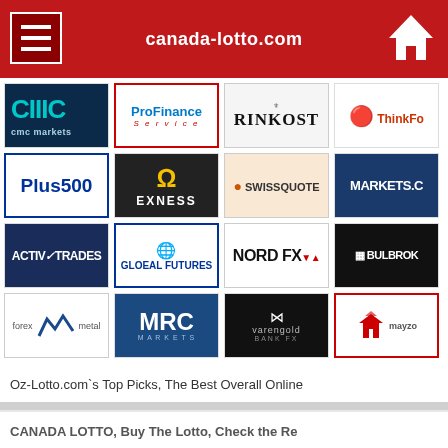canada-lotto.com
[Figure (logo): Grid of financial broker logos including CMC Markets, ProFinance Service, RINKOST, ThinkForex, Plus500, EXNESS, SwissQuote, MARKETS.COM, ActivTrades, Gloeal Futures, NORD FX, BULBROK, Forex Metal, MRC Markets, Varengold Bank, Mayzo]
Oz-Lotto.com’s Top Picks, The Best Overall Online
CANADA LOTTO, Buy The Lotto, Check the Re
Lotteries in Canada